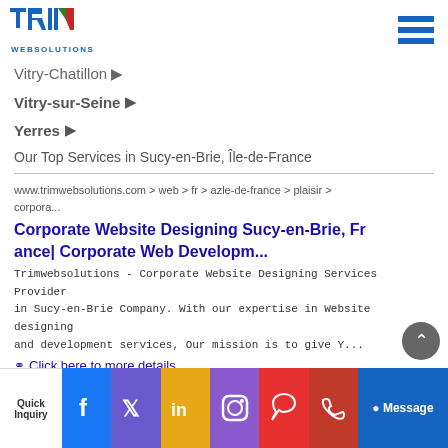TRIM WEBSOLUTIONS logo and hamburger menu
Vitry-Chatillon ▶
Vitry-sur-Seine ▶
Yerres ▶
Our Top Services in Sucy-en-Brie, Île-de-France
www.trimwebsolutions.com > web > fr > azle-de-france > plaisir > corpora...
Corporate Website Designing Sucy-en-Brie, France| Corporate Web Developm...
Trimwebsolutions - Corporate Website Designing Services Provider in Sucy-en-Brie Company. With our expertise in Website designing and development services, Our mission is to give Y...
Click here to more details
Quick Inquiry | Facebook | Twitter | LinkedIn | Instagram | WhatsApp | Phone | Message